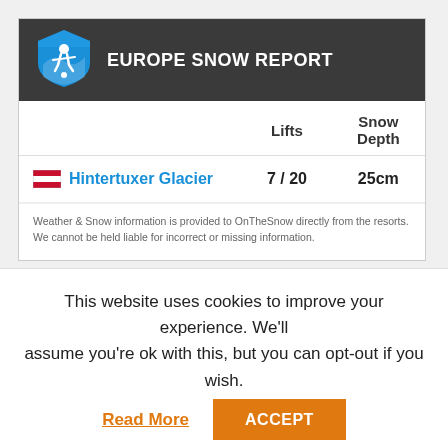EUROPE SNOW REPORT
|  | Lifts | Snow Depth |
| --- | --- | --- |
| Hintertuxer Glacier | 7 / 20 | 25cm |
Weather & Snow information is provided to OnTheSnow directly from the resorts. We cannot be held liable for incorrect or missing information.
This website uses cookies to improve your experience. We'll assume you're ok with this, but you can opt-out if you wish.
Read More
ACCEPT